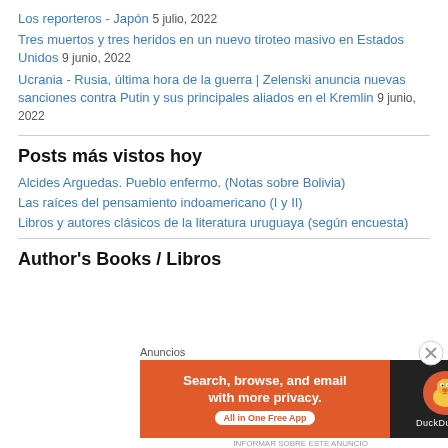Los reporteros - Japón 5 julio, 2022
Tres muertos y tres heridos en un nuevo tiroteo masivo en Estados Unidos 9 junio, 2022
Ucrania - Rusia, última hora de la guerra | Zelenski anuncia nuevas sanciones contra Putin y sus principales aliados en el Kremlin 9 junio, 2022
Posts más vistos hoy
Alcides Arguedas. Pueblo enfermo. (Notas sobre Bolivia)
Las raíces del pensamiento indoamericano (I y II)
Libros y autores clásicos de la literatura uruguaya (según encuesta)
Author's Books / Libros
[Figure (infographic): DuckDuckGo advertisement banner with text 'Search, browse, and email with more privacy. All in One Free App' and DuckDuckGo logo on dark background.]